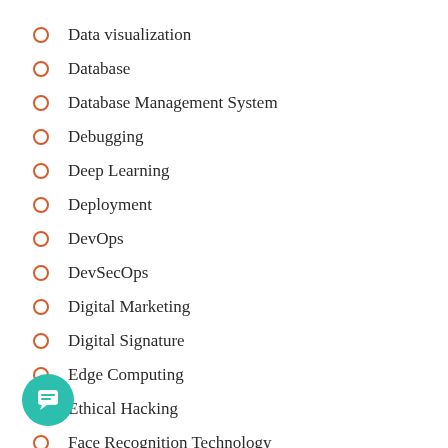Data visualization
Database
Database Management System
Debugging
Deep Learning
Deployment
DevOps
DevSecOps
Digital Marketing
Digital Signature
Edge Computing
Ethical Hacking
Face Recognition Technology